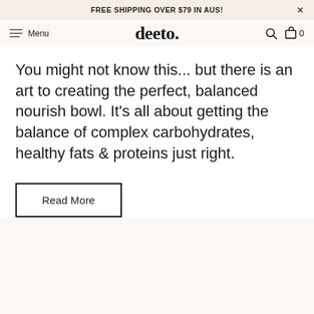FREE SHIPPING OVER $79 IN AUS!
[Figure (logo): deeto. brand logo with hamburger menu and cart icon nav bar]
You might not know this... but there is an art to creating the perfect, balanced nourish bowl. It's all about getting the balance of complex carbohydrates, healthy fats & proteins just right.
Read More